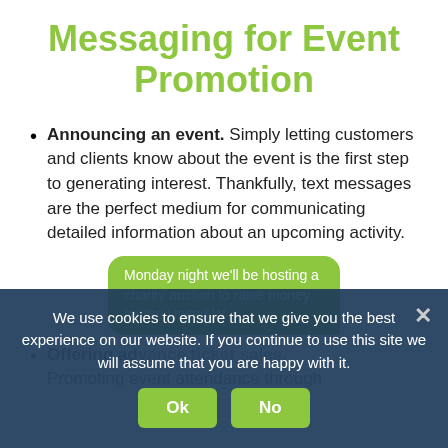Messaging for Event Promotion
Announcing an event. Simply letting customers and clients know about the event is the first step to generating interest. Thankfully, text messages are the perfect medium for communicating detailed information about an upcoming activity.
[Figure (screenshot): SMS text bubble showing: Monday night we'll be hosting a charity auction to raise money for the United W...]
Offering advance ticket sales. Promoting event attendance through
We use cookies to ensure that we give you the best experience on our website. If you continue to use this site we will assume that you are happy with it.